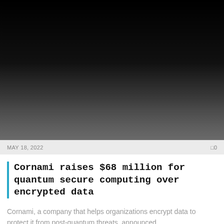[Figure (photo): Dark gradient image, transitioning from solid black at the top to dark gray at the bottom, likely a blurred or darkened photo used as a news article header image.]
MAY 18, 2022
0
Cornami raises $68 million for quantum secure computing over encrypted data
Cornami, a company that helps organizations encrypt data to protect it from post-quantum threats, announced...